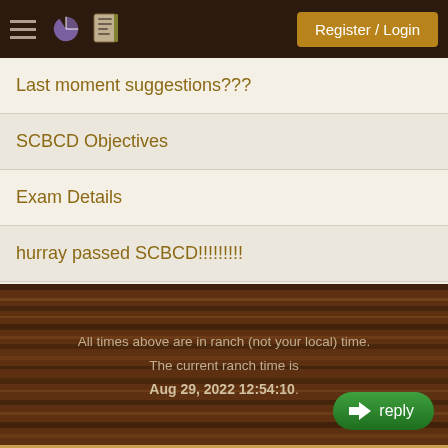Register / Login
Last moment suggestions???
SCBCD Objectives
Exam Details
hurray passed SCBCD!!!!!!!!!
question about EJB-QL
More...
All times above are in ranch (not your local) time. The current ranch time is Aug 29, 2022 12:54:10.